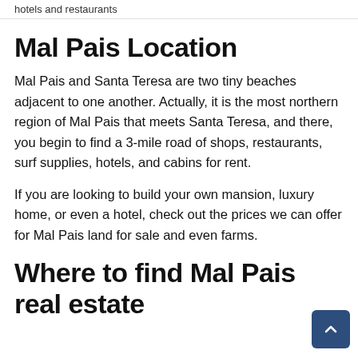hotels and restaurants
Mal Pais Location
Mal Pais and Santa Teresa are two tiny beaches adjacent to one another. Actually, it is the most northern region of Mal Pais that meets Santa Teresa, and there, you begin to find a 3-mile road of shops, restaurants, surf supplies, hotels, and cabins for rent.
If you are looking to build your own mansion, luxury home, or even a hotel, check out the prices we can offer for Mal Pais land for sale and even farms.
Where to find Mal Pais real estate